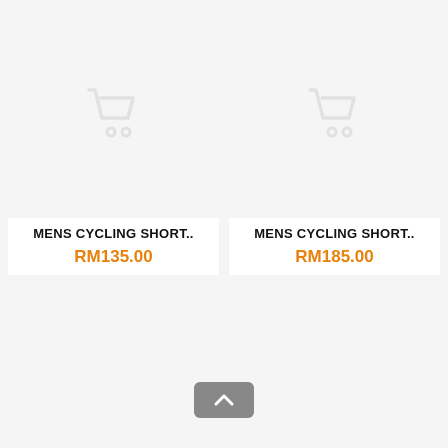[Figure (other): Product image placeholder with shopping cart icon for MENS CYCLING SHORT..]
MENS CYCLING SHORT..
RM135.00
[Figure (other): Product image placeholder with shopping cart icon for MENS CYCLING SHORT..]
MENS CYCLING SHORT..
RM185.00
[Figure (other): Bottom left product image placeholder]
[Figure (other): Bottom right product image placeholder]